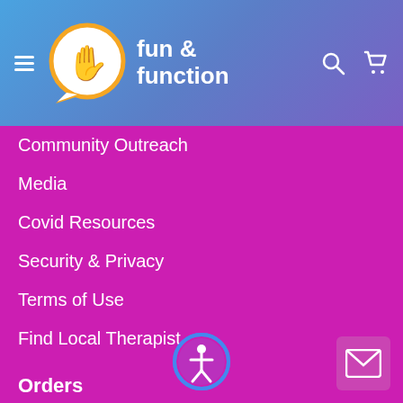[Figure (logo): Fun & Function logo with hand icon in speech bubble on blue/purple gradient header]
Community Outreach
Media
Covid Resources
Security & Privacy
Terms of Use
Find Local Therapist
Orders
Shipping and Returns
Purchase Orders
Reward Points
Save up & Earn 10%
View e-catalog
Request a Catalog